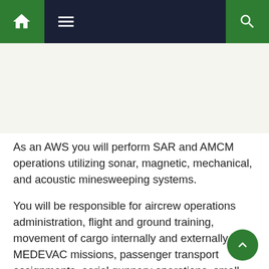Navigation bar with home, menu, and search icons
[Figure (photo): Image placeholder area below navigation bar]
As an AWS you will perform SAR and AMCM operations utilizing sonar, magnetic, mechanical, and acoustic minesweeping systems.
You will be responsible for aircrew operations administration, flight and ground training, movement of cargo internally and externally, MEDEVAC missions, passenger transport assignments, aerial gunnery operations, small arms handling, Naval Special Warfare (NSW) insertion and extraction, Vertical Replenishment (VERTREP), and Night Vision Device (NVD) operations.